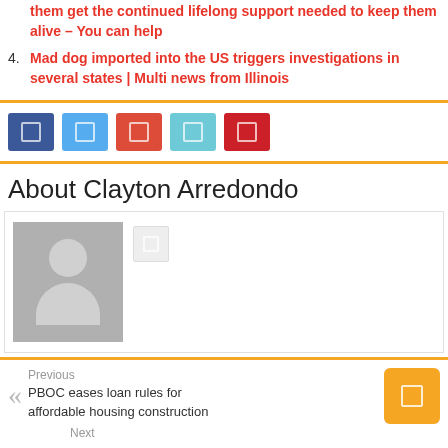them get the continued lifelong support needed to keep them alive – You can help
4. Mad dog imported into the US triggers investigations in several states | Multi news from Illinois
[Figure (other): Social sharing buttons: Facebook, Twitter, Google+, LinkedIn, Pinterest]
About Clayton Arredondo
[Figure (photo): Author avatar placeholder image with generic person silhouette in gray]
Previous
PBOC eases loan rules for affordable housing construction
[Figure (other): Next button orange square with icon]